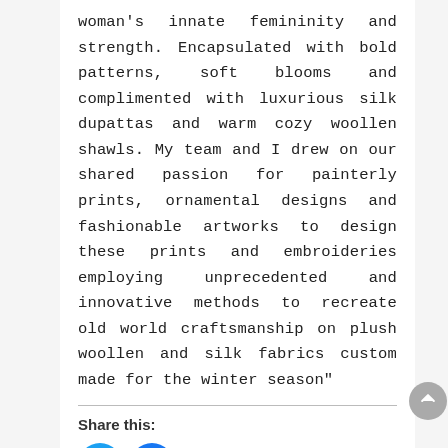woman's innate femininity and strength. Encapsulated with bold patterns, soft blooms and complimented with luxurious silk dupattas and warm cozy woollen shawls. My team and I drew on our shared passion for painterly prints, ornamental designs and fashionable artworks to design these prints and embroideries employing unprecedented and innovative methods to recreate old world craftsmanship on plush woollen and silk fabrics custom made for the winter season"
Share this:
[Figure (other): Share buttons: Twitter (blue circle), Facebook (blue circle), More (outlined button with share icon)]
Related
Sapphire to launch Sapphire Lawn – Eid Collection 2015!
June 23, 2015
Sapphire Introduces New Valentine's Day Themed Capsule Collection
February 5, 2015